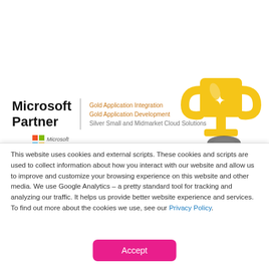[Figure (logo): Microsoft Partner logo with Gold Application Integration, Gold Application Development, Silver Small and Midmarket Cloud Solutions competencies, and a trophy illustration on the right]
This website uses cookies and external scripts. These cookies and scripts are used to collect information about how you interact with our website and allow us to improve and customize your browsing experience on this website and other media. We use Google Analytics – a pretty standard tool for tracking and analyzing our traffic. It helps us provide better website experience and services. To find out more about the cookies we use, see our Privacy Policy.
Accept